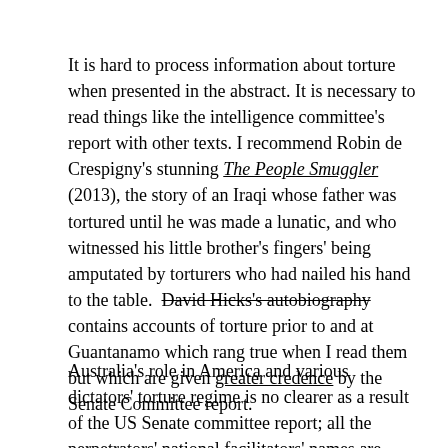It is hard to process information about torture when presented in the abstract. It is necessary to read things like the intelligence committee's report with other texts. I recommend Robin de Crespigny's stunning The People Smuggler (2013), the story of an Iraqi whose father was tortured until he was made a lunatic, and who witnessed his little brother's fingers' being amputated by torturers who had nailed his hand to the table.  David Hicks's autobiography contains accounts of torture prior to and at Guantanamo which rang true when I read them but which are given greater credence by the Senate Committee report.
Australia's role in America and various dictators' torture regime is no clearer as a result of the US Senate committee report; all the perpetrators' national facilitators' names are redacted.  But as the Sir Anthony